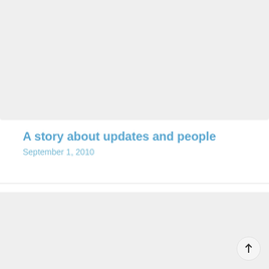[Figure (photo): Large light gray placeholder image at top of page]
A story about updates and people
September 1, 2010
[Figure (logo): Grid of four Fedora logos in a light gray card at the bottom of the page]